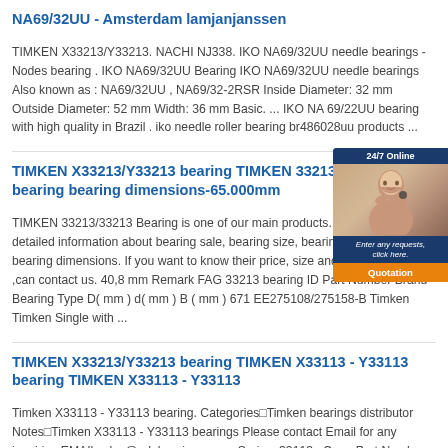NA69/32UU - Amsterdam lamjanjanssen
TIMKEN X33213/Y33213. NACHI NJ338. IKO NA69/32UU needle bearings - Nodes bearing . IKO NA69/32UU Bearing IKO NA69/32UU needle bearings Also known as : NA69/32UU , NA69/32-2RSR Inside Diameter: 32 mm Outside Diameter: 52 mm Width: 36 mm Basic. ... IKO NA 69/22UU bearing with high quality in Brazil . iko needle roller bearing br486028uu products ...
TIMKEN X33213/Y33213 bearing TIMKEN 33213/33213 bearing bearing dimensions-65.000mm
TIMKEN 33213/33213 Bearing is one of our main products. We have the detailed information about bearing sale, bearing size, bearing price and bearing dimensions. If you want to know their price, size and other information ,can contact us. 40,8 mm Remark FAG 33213 bearing ID Part Number Brand Bearing Type D( mm ) d( mm ) B ( mm ) 671 EE275108/275158-B Timken Timken Single with ...
TIMKEN X33213/Y33213 bearing TIMKEN X33113 - Y33113 bearing TIMKEN X33113 - Y33113
Timken X33113 - Y33113 bearing. Categories□Timken bearings distributor Notes□Timken X33113 - Y33113 bearings Please contact Email for any inquiries EMAIl:sales@edabearings.com. Series: 33113 . Cone Part Number: X33113 . Cup Part Number: Y33113 . db - Cone Backface Backing Diameter: 3.03 in 76.96 mm ...